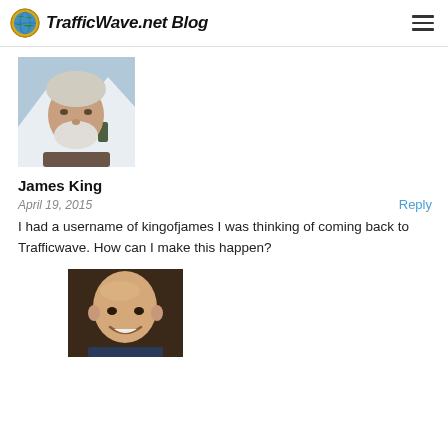TrafficWave.net Blog
[Figure (photo): Profile photo of James King: an older man with gray beard and white hair, with a snowy background]
James King
April 19, 2015
Reply
I had a username of kingofjames I was thinking of coming back to Trafficwave. How can I make this happen?
[Figure (photo): Profile photo of a bald smiling man, partially visible]